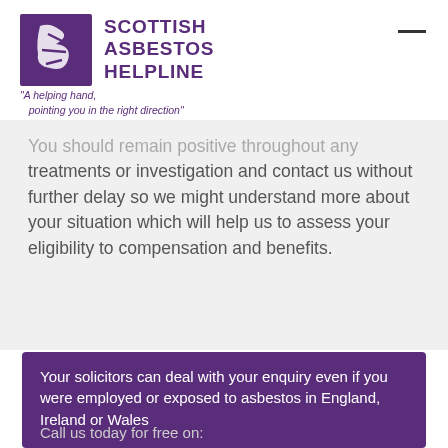[Figure (logo): Scottish Asbestos Helpline logo with purple stylized figure icon and text 'SCOTTISH ASBESTOS HELPLINE']
"A helping hand, pointing you in the right direction"
You should remain positive throughout any treatments or investigation and contact us without further delay so we might understand more about your situation which will help us to assess your eligibility to compensation and benefits.
Your solicitors can deal with your enquiry even if you were employed or exposed to asbestos in England, Ireland or Wales
Call us today for free on: